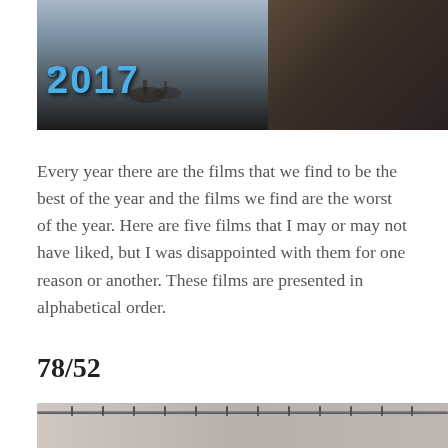[Figure (photo): Movie banner image showing '2017' text in blue with an ape character and horse/rider silhouettes against a cinematic sky background]
Every year there are the films that we find to be the best of the year and the films we find are the worst of the year. Here are five films that I may or may not have liked, but I was disappointed with them for one reason or another. These films are presented in alphabetical order.
78/52
[Figure (photo): Black and white photo showing a shower curtain rod with hooks, partial view of a shower scene]